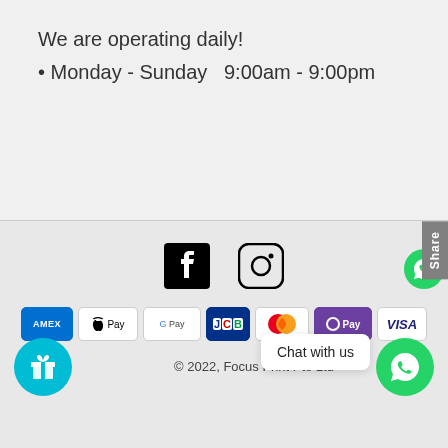We are operating daily!
• Monday - Sunday  9:00am - 9:00pm
[Figure (infographic): Facebook and Instagram social media icons]
[Figure (infographic): Payment method icons: AMEX, Apple Pay, Google Pay, JCB, Mastercard, O Pay, VISA]
[Figure (infographic): Gift/loyalty button (cyan circle with gift icon), copyright text, WhatsApp chat bubble overlay, WhatsApp button (green circle)]
© 2022, Focus Print Pte Ltd